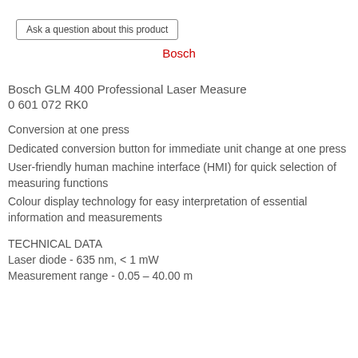Ask a question about this product
Bosch
Bosch GLM 400 Professional Laser Measure
0 601 072 RK0
Conversion at one press
Dedicated conversion button for immediate unit change at one press
User-friendly human machine interface (HMI) for quick selection of measuring functions
Colour display technology for easy interpretation of essential information and measurements
TECHNICAL DATA
Laser diode - 635 nm, < 1 mW
Measurement range - 0.05 – 40.00 m